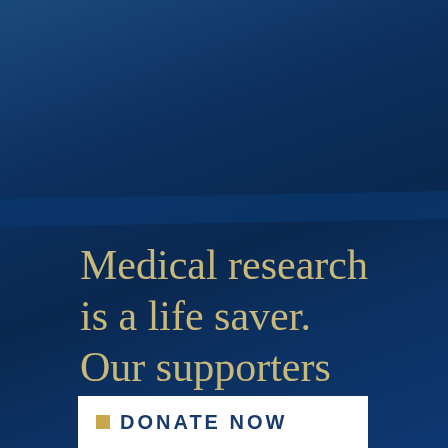Medical research is a life saver. Our supporters are life savers.
DONATE NOW